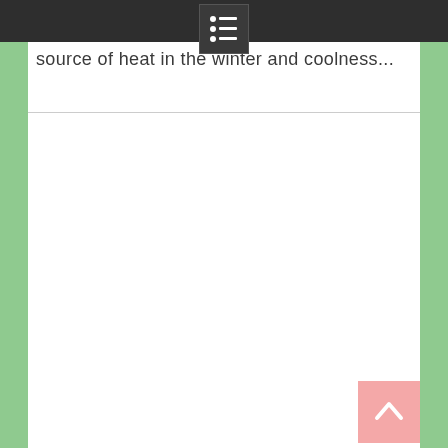source of heat in the winter and coolness...
[Figure (other): Back to top button with upward chevron arrow, salmon/pink colored square button in bottom right corner]